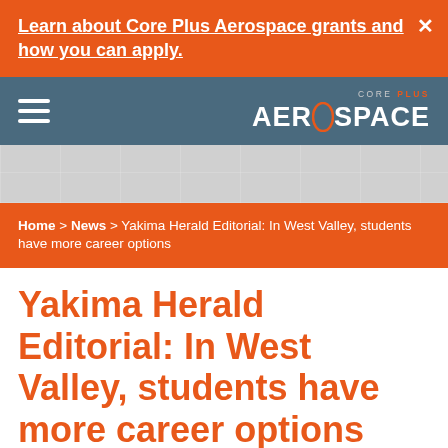Learn about Core Plus Aerospace grants and how you can apply.
Core Plus Aerospace
Home > News > Yakima Herald Editorial: In West Valley, students have more career options
Yakima Herald Editorial: In West Valley, students have more career options
This editorial was written by Chris Nesmith, director of